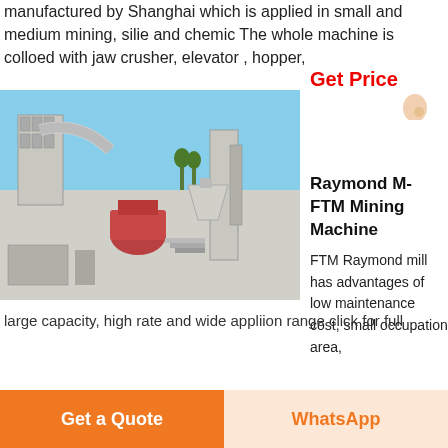manufactured by Shanghai which is applied in small and medium mining, silie and chemic The whole machine is colloed with jaw crusher, elevator , hopper,
Get Price
[Figure (photo): Industrial Raymond mill machine installation at an outdoor facility with dust collector, pipes, and silos under a blue sky.]
[Figure (illustration): Person in white clothing with headset, and a blue Free chat button overlay.]
Raymond M- FTM Mining Machine
FTM Raymond mill has advantages of low maintenance cost, small occupation area,
large capacity, high rate and wide appliion range click for full
Get a Quote
WhatsApp